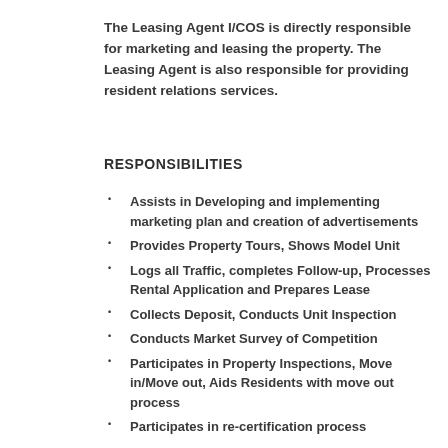The Leasing Agent I/COS is directly responsible for marketing and leasing the property. The Leasing Agent is also responsible for providing resident relations services.
RESPONSIBILITIES
Assists in Developing and implementing marketing plan and creation of advertisements
Provides Property Tours, Shows Model Unit
Logs all Traffic, completes Follow-up, Processes Rental Application and Prepares Lease
Collects Deposit, Conducts Unit Inspection
Conducts Market Survey of Competition
Participates in Property Inspections, Move in/Move out, Aids Residents with move out process
Participates in re-certification process